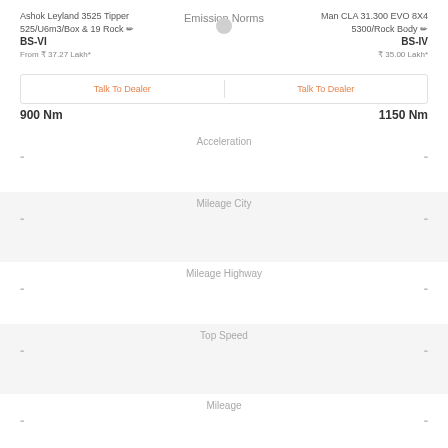Ashok Leyland 3525 Tipper 525/U6m3/Box & 19 Rock
BS-VI
From ₹ 37.27 Lakh*
Emission Norms
Man CLA 31.300 EVO 8X4 5300/Rock Body
BS-IV
₹ 35.00 Lakh*
Talk To Dealer
Max Torque
Talk To Dealer
900 Nm
1150 Nm
Acceleration
-
-
Mileage City
-
-
Mileage Highway
-
-
Top Speed
-
-
Mileage
-
-